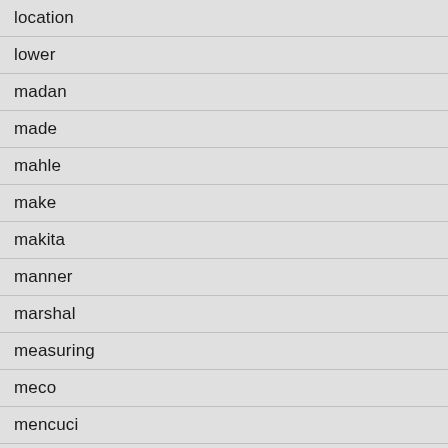location
lower
madan
made
mahle
make
makita
manner
marshal
measuring
meco
mencuci